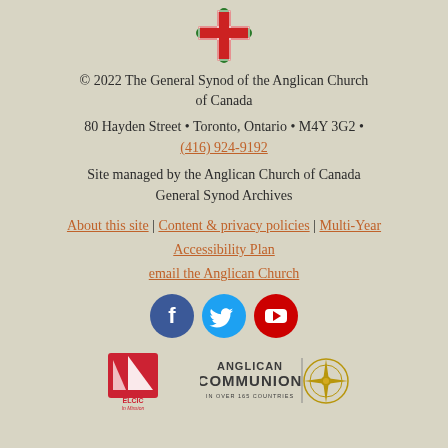[Figure (logo): Anglican Church of Canada cross and maple leaf crest logo]
© 2022 The General Synod of the Anglican Church of Canada
80 Hayden Street • Toronto, Ontario • M4Y 3G2 • (416) 924-9192
Site managed by the Anglican Church of Canada General Synod Archives
About this site | Content & privacy policies | Multi-Year Accessibility Plan
email the Anglican Church
[Figure (other): Social media icons: Facebook (blue circle with f), Twitter (teal circle with bird), YouTube (red circle with play button)]
[Figure (logo): ELCIC - In Mission for Others logo (red and white sailing vessel mark) and Anglican Communion in over 165 countries logo with compass rose]